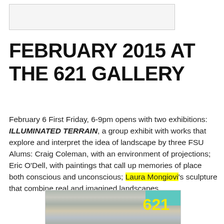[Figure (photo): Partial image placeholder at top of page, light gray box with border]
FEBRUARY 2015 AT THE 621 GALLERY
February 6 First Friday, 6-9pm opens with two exhibitions: ILLUMINATED TERRAIN, a group exhibit with works that explore and interpret the idea of landscape by three FSU Alums: Craig Coleman, with an environment of projections;  Eric O'Dell, with paintings that call up memories of place both conscious and unconscious; Laura Mongiovi's sculpture that combine real and imagined landscapes.
[Figure (photo): Exterior photo of 621 Gallery building showing the number 621 in large yellow text, teal accent, and a sculpture in front]